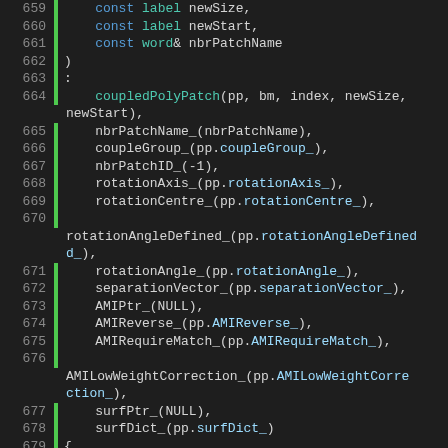Source code listing, lines 659-688, C++ constructor initializer list for cyclicAMIPolyPatch